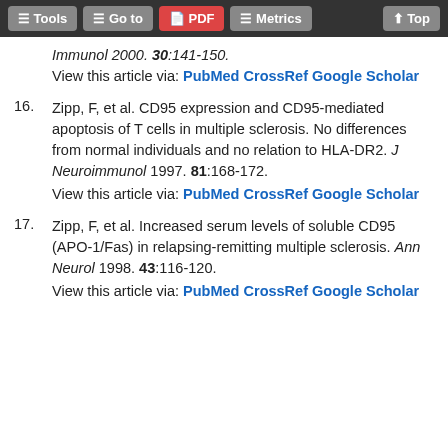Tools | Go to | PDF | Metrics | Top
Immunol 2000. 30:141-150.
View this article via: PubMed CrossRef Google Scholar
16. Zipp, F, et al. CD95 expression and CD95-mediated apoptosis of T cells in multiple sclerosis. No differences from normal individuals and no relation to HLA-DR2. J Neuroimmunol 1997. 81:168-172.
View this article via: PubMed CrossRef Google Scholar
17. Zipp, F, et al. Increased serum levels of soluble CD95 (APO-1/Fas) in relapsing-remitting multiple sclerosis. Ann Neurol 1998. 43:116-120.
View this article via: PubMed CrossRef Google Scholar